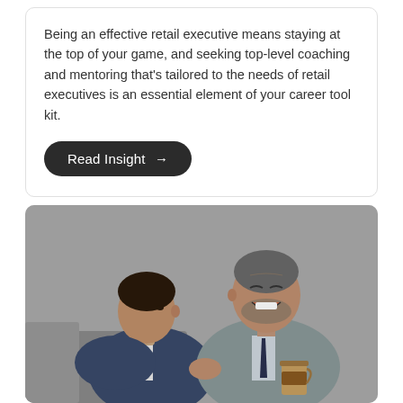Being an effective retail executive means staying at the top of your game, and seeking top-level coaching and mentoring that's tailored to the needs of retail executives is an essential element of your career tool kit.
Read Insight →
[Figure (photo): Two businessmen in suits sitting and having a conversation. One man is younger wearing a dark blue suit, the other is older with grey hair wearing a grey suit and holding a coffee cup, laughing.]